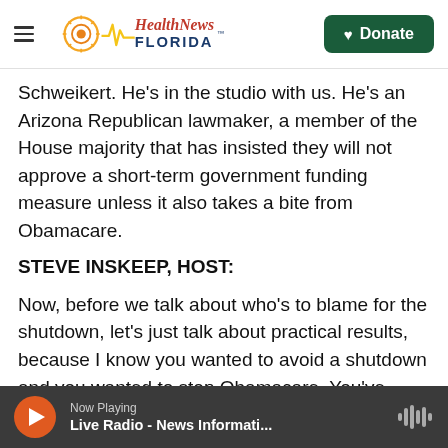Health News Florida | Donate
Schweikert. He's in the studio with us. He's an Arizona Republican lawmaker, a member of the House majority that has insisted they will not approve a short-term government funding measure unless it also takes a bite from Obamacare.
STEVE INSKEEP, HOST:
Now, before we talk about who's to blame for the shutdown, let's just talk about practical results, because I know you wanted to avoid a shutdown and you wanted to stop Obamacare. You've ended up with a shutdown and Obamacare is in effect.
Now Playing | Live Radio - News Informati...